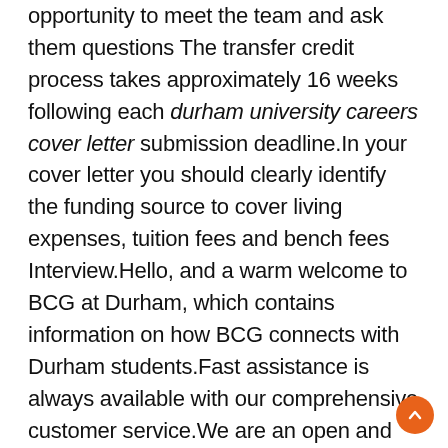opportunity to meet the team and ask them questions The transfer credit process takes approximately 16 weeks following each durham university careers cover letter submission deadline.In your cover letter you should clearly identify the funding source to cover living expenses, tuition fees and bench fees Interview.Hello, and a warm welcome to BCG at Durham, which contains information on how BCG connects with Durham students.Fast assistance is always available with our comprehensive customer service.We are an open and friendly department, which accommodates work in both ‘analytic’ and ‘Continental’ Western philosophical traditions Durham is an excellent university with an